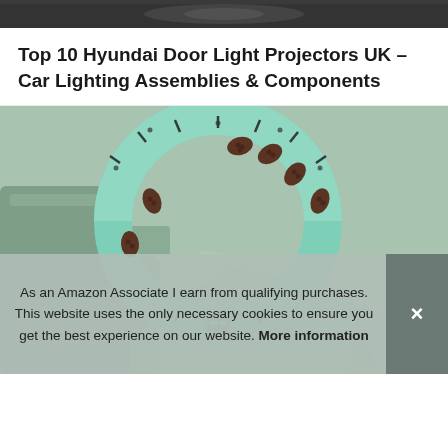[Figure (photo): Top portion of a product/article page showing a cropped dark image strip at the very top]
Top 10 Hyundai Door Light Projectors UK – Car Lighting Assemblies & Components
[Figure (photo): A teal/mint colored segmented hula hoop fitness ring with massage nodes displayed on a green background, with a cookie consent overlay banner at the bottom]
As an Amazon Associate I earn from qualifying purchases. This website uses the only necessary cookies to ensure you get the best experience on our website. More information